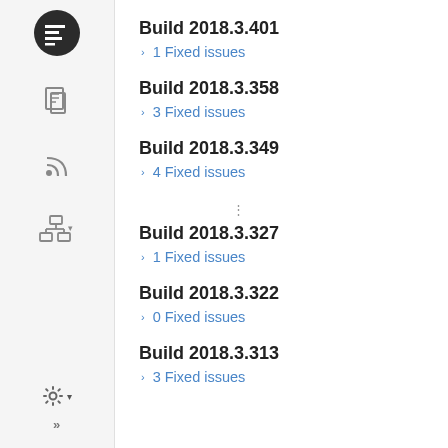Build 2018.3.401
1 Fixed issues
Build 2018.3.358
3 Fixed issues
Build 2018.3.349
4 Fixed issues
Build 2018.3.327
1 Fixed issues
Build 2018.3.322
0 Fixed issues
Build 2018.3.313
3 Fixed issues